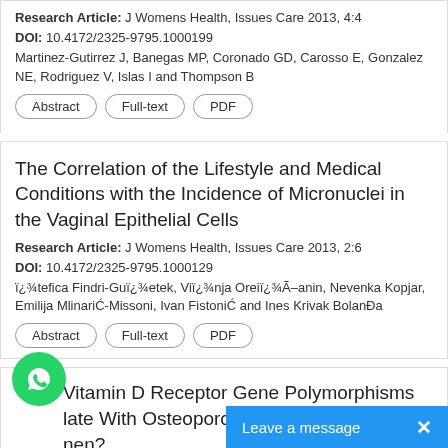Research Article: J Womens Health, Issues Care 2013, 4:4
DOI: 10.4172/2325-9795.1000199
Martinez-Gutirrez J, Banegas MP, Coronado GD, Carosso E, Gonzalez NE, Rodriguez V, Islas I and Thompson B
Abstract | Full-text | PDF
The Correlation of the Lifestyle and Medical Conditions with the Incidence of Micronuclei in the Vaginal Epithelial Cells
Research Article: J Womens Health, Issues Care 2013, 2:6
DOI: 10.4172/2325-9795.1000129
ï¿¾tefica Findri-Guï¿¾etek, Viï¿¾nja Oreiï¿¾Ãïanin, Nevenka Kopjar, Emilija MlinariÄ-Missoni, Ivan FistoniÄ and Ines Krivak BolanÄa
Abstract | Full-text | PDF
Do Vitamin D Receptor Gene Polymorphisms late With Osteoporosis in Post- Menopausal nen?
Research Article: J Womens Healt